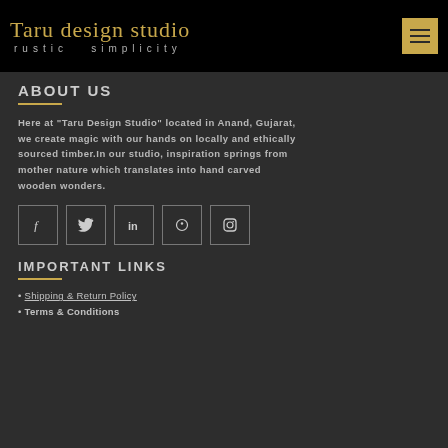Taru design studio rustic simplicity
ABOUT US
Here at "Taru Design Studio" located in Anand, Gujarat, we create magic with our hands on locally and ethically sourced timber.In our studio, inspiration springs from mother nature which translates into hand carved wooden wonders.
[Figure (other): Row of 5 social media icon buttons (Facebook, Twitter, LinkedIn, Pinterest, Instagram) as square bordered icons]
IMPORTANT LINKS
• Shipping & Return Policy
• Terms & Conditions